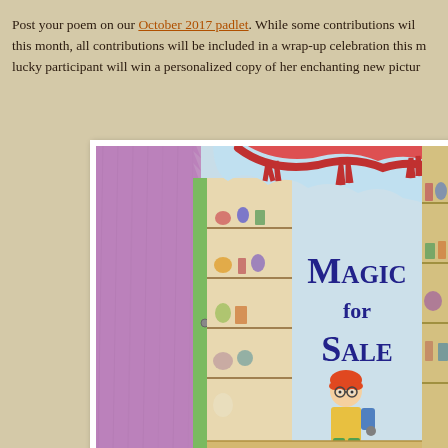Post your poem on our October 2017 padlet. While some contributions will be featured this month, all contributions will be included in a wrap-up celebration this month. One lucky participant will win a personalized copy of her enchanting new pictur...
[Figure (illustration): Book cover of 'Magic for Sale' - a children's picture book showing a whimsical magic shop scene with a large pink furry creature on the left, shelves full of magical items, a red dragon on top, a child character in green pants and yellow jacket standing in the doorway, and the title 'Magic for Sale' in dark blue letters]